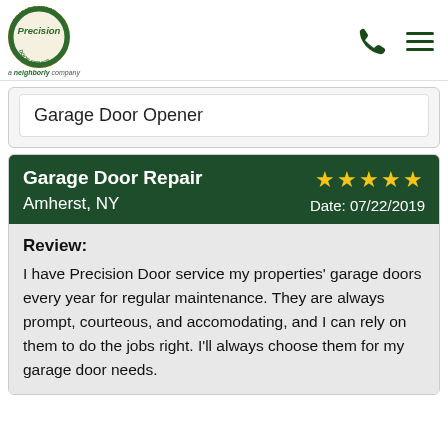[Figure (logo): Precision Door Service logo — circular badge with text 'OVERHEAD GARAGE DOOR SERVICE' around the perimeter and 'Precision' in the center, with tagline 'a neighborly company' below]
Garage Door Opener
Garage Door Repair Amherst, NY
Date: 07/22/2019
Review:
I have Precision Door service my properties' garage doors every year for regular maintenance. They are always prompt, courteous, and accomodating, and I can rely on them to do the jobs right. I'll always choose them for my garage door needs.